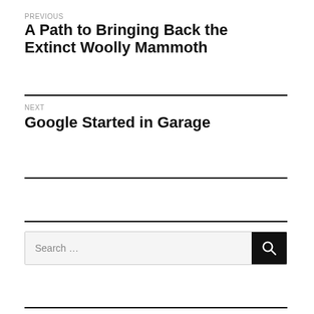PREVIOUS
A Path to Bringing Back the Extinct Woolly Mammoth
NEXT
Google Started in Garage
[Figure (other): Search bar with text field labeled 'Search ...' and a dark search button with magnifying glass icon]